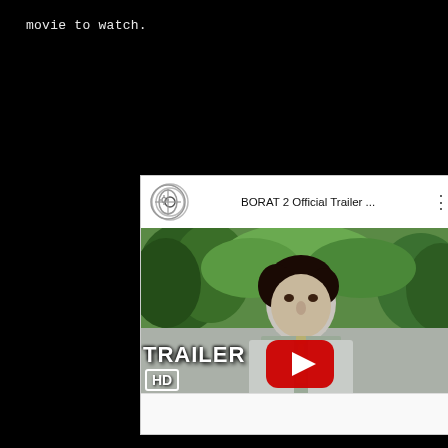movie to watch.
[Figure (screenshot): YouTube video embed showing BORAT 2 Official Trailer with a play button overlay. The thumbnail shows a man in a light grey suit with a tie standing in front of green trees. The video has 'TRAILER HD' text overlay in the bottom left. The YouTube header shows the video title 'BORAT 2 Official Trailer ...' with a YouTube-style icon.]